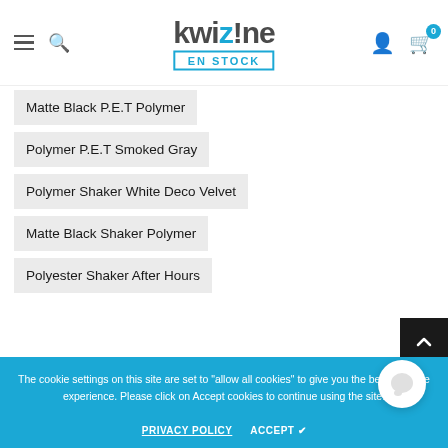kwizine EN STOCK
Matte Black P.E.T Polymer
Polymer P.E.T Smoked Gray
Polymer Shaker White Deco Velvet
Matte Black Shaker Polymer
Polyester Shaker After Hours
Polyester Shaker Fries Americana
Polyester Shaker Mustard...
The cookie settings on this site are set to "allow all cookies" to give you the best possible experience. Please click on Accept cookies to continue using the site.
PRIVACY POLICY    ACCEPT ✔